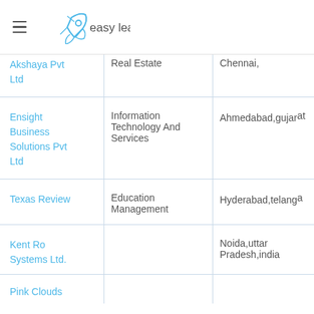easy leadz
| Company | Industry | Location |
| --- | --- | --- |
| Akshaya Pvt Ltd | Real Estate | Chennai, |
| Ensight Business Solutions Pvt Ltd | Information Technology And Services | Ahmedabad,gujarat |
| Texas Review | Education Management | Hyderabad,telangana |
| Kent Ro Systems Ltd. |  | Noida,uttar Pradesh,india |
| Pink Clouds |  |  |